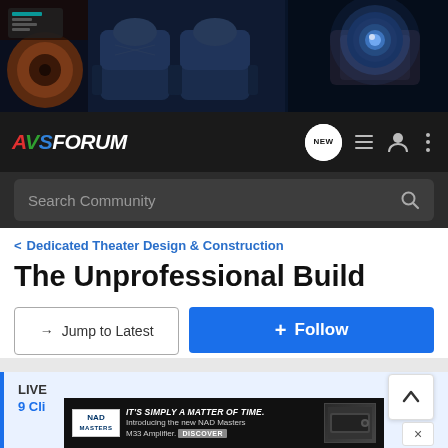[Figure (photo): AVS Forum website banner showing home theater equipment: a speaker on left, plush theater seats in center, and a projector with blue lens glow on right, dark blue cinematic background]
AVSForum navigation bar with logo, NEW chat button, list icon, user icon, and more options icon
Search Community
< Dedicated Theater Design & Construction
The Unprofessional Build
→ Jump to Latest
+ Follow
LIVE
9 Cli
[Figure (screenshot): NAD advertisement banner: IT'S SIMPLY A MATTER OF TIME. Introducing the new NAD Masters M33 Amplifier. DISCOVER]